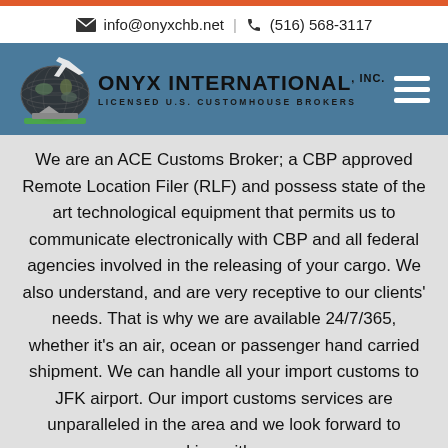info@onyxchb.net | (516) 568-3117
[Figure (logo): Onyx International Inc. Licensed U.S. Customhouse Brokers logo with globe and airplane graphic on blue navigation bar with hamburger menu]
We are an ACE Customs Broker; a CBP approved Remote Location Filer (RLF) and possess state of the art technological equipment that permits us to communicate electronically with CBP and all federal agencies involved in the releasing of your cargo. We also understand, and are very receptive to our clients' needs. That is why we are available 24/7/365, whether it's an air, ocean or passenger hand carried shipment. We can handle all your import customs to JFK airport. Our import customs services are unparalleled in the area and we look forward to working with you.